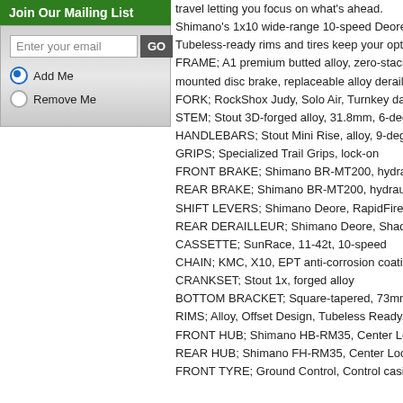Join Our Mailing List
Enter your email [GO button]
Add Me
Remove Me
travel letting you focus on what's ahead.
Shimano's 1x10 wide-range 10-speed Deore s...
Tubeless-ready rims and tires keep your optio...
FRAME; A1 premium butted alloy, zero-stack h... mounted disc brake, replaceable alloy deraille...
FORK; RockShox Judy, Solo Air, Turnkey dam...
STEM; Stout 3D-forged alloy, 31.8mm, 6-degr...
HANDLEBARS; Stout Mini Rise, alloy, 9-degre...
GRIPS; Specialized Trail Grips, lock-on
FRONT BRAKE; Shimano BR-MT200, hydrau...
REAR BRAKE; Shimano BR-MT200, hydraulic...
SHIFT LEVERS; Shimano Deore, RapidFire P...
REAR DERAILLEUR; Shimano Deore, Shado...
CASSETTE; SunRace, 11-42t, 10-speed
CHAIN; KMC, X10, EPT anti-corrosion coating...
CRANKSET; Stout 1x, forged alloy
BOTTOM BRACKET; Square-tapered, 73mm,...
RIMS; Alloy, Offset Design, Tubeless Ready, 2...
FRONT HUB; Shimano HB-RM35, Center Loc...
REAR HUB; Shimano FH-RM35, Center Lock...
FRONT TYRE; Ground Control, Control casin...